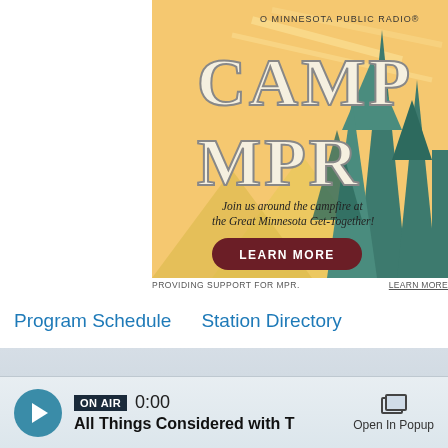[Figure (illustration): Camp MPR advertisement banner for Minnesota Public Radio featuring a retro camp-style design with large text 'CAMP MPR', stylized pine trees on a warm yellow/golden background, text 'Join us around the campfire at the Great Minnesota Get-Together!' and a dark red 'LEARN MORE' button]
PROVIDING SUPPORT FOR MPR.
LEARN MORE
Program Schedule    Station Directory
ON AIR  0:00  All Things Considered with T...  Open In Popup